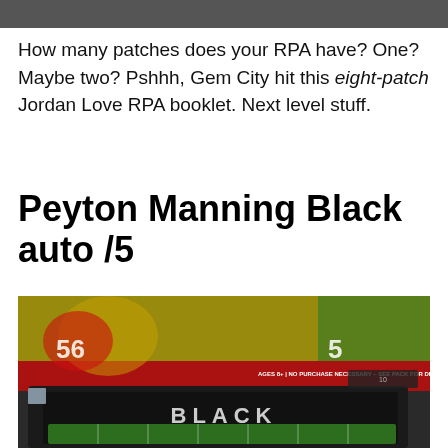[Figure (photo): Dark gray banner/header bar at the very top of the page]
How many patches does your RPA have? One? Maybe two? Pshhh, Gem City hit this eight-patch Jordan Love RPA booklet. Next level stuff.
Peyton Manning Black auto /5
[Figure (photo): Photo of sports trading cards including a Panini Black card visible at the bottom with the word BLACK on it, and football player images on card packaging above]